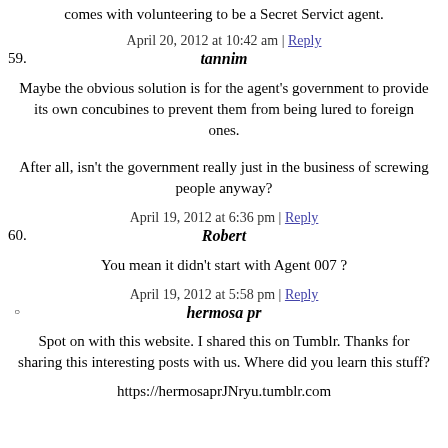comes with volunteering to be a Secret Servict agent.
April 20, 2012 at 10:42 am | Reply
59. tannim
Maybe the obvious solution is for the agent's government to provide its own concubines to prevent them from being lured to foreign ones.
After all, isn't the government really just in the business of screwing people anyway?
April 19, 2012 at 6:36 pm | Reply
60. Robert
You mean it didn't start with Agent 007 ?
April 19, 2012 at 5:58 pm | Reply
hermosa pr
Spot on with this website. I shared this on Tumblr. Thanks for sharing this interesting posts with us. Where did you learn this stuff?
https://hermosaprJNryu.tumblr.com